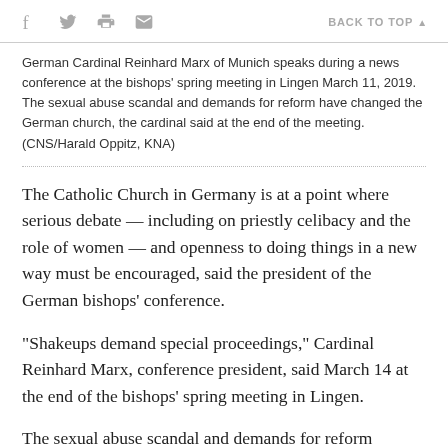f [twitter] [print] [email]   BACK TO TOP ▲
German Cardinal Reinhard Marx of Munich speaks during a news conference at the bishops' spring meeting in Lingen March 11, 2019. The sexual abuse scandal and demands for reform have changed the German church, the cardinal said at the end of the meeting. (CNS/Harald Oppitz, KNA)
The Catholic Church in Germany is at a point where serious debate — including on priestly celibacy and the role of women — and openness to doing things in a new way must be encouraged, said the president of the German bishops' conference.
"Shakeups demand special proceedings," Cardinal Reinhard Marx, conference president, said March 14 at the end of the bishops' spring meeting in Lingen.
The sexual abuse scandal and demands for reform